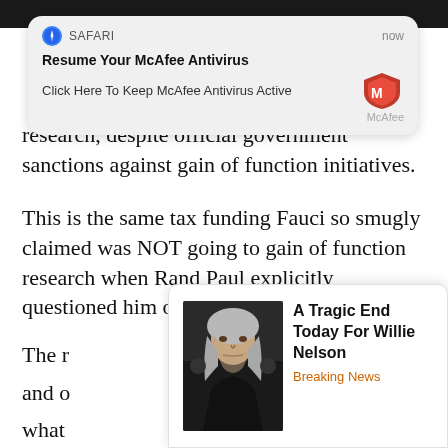[Figure (screenshot): Safari push notification: 'Resume Your McAfee Antivirus — Click Here To Keep McAfee Antivirus Active' with McAfee shield logo, timestamped 'now']
research, despite official government sanctions against gain of function initiatives.
This is the same tax funding Fauci so smugly claimed was NOT going to gain of function research when Rand Paul explicitly questioned him on it.
The r[est obscured]...uci and o[bscured]...n what[obscured]...is buddi[es obscured]...eep out o[f obscured]...
[Figure (screenshot): Ad card: Photo of Willie Nelson with text 'A Tragic End Today For Willie Nelson' and subheading 'Breaking News']